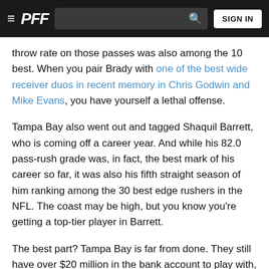≡  PFF  [search bar]  SIGN IN
throw rate on those passes was also among the 10 best. When you pair Brady with one of the best wide receiver duos in recent memory in Chris Godwin and Mike Evans, you have yourself a lethal offense.
Tampa Bay also went out and tagged Shaquil Barrett, who is coming off a career year. And while his 82.0 pass-rush grade was, in fact, the best mark of his career so far, it was also his fifth straight season of him ranking among the 30 best edge rushers in the NFL. The coast may be high, but you know you're getting a top-tier player in Barrett.
The best part? Tampa Bay is far from done. They still have over $20 million in the bank account to play with, and a move for tackle Jason Peters or safety Anthony Harris is a real possibility — and those kinds of moves